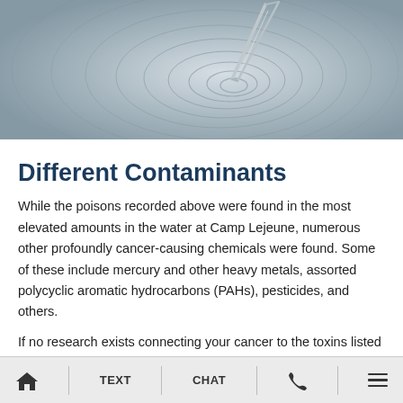[Figure (photo): Close-up photo of metal tweezers or a scientific tool touching water, creating circular ripple patterns on the water surface.]
Different Contaminants
While the poisons recorded above were found in the most elevated amounts in the water at Camp Lejeune, numerous other profoundly cancer-causing chemicals were found. Some of these include mercury and other heavy metals, assorted polycyclic aromatic hydrocarbons (PAHs), pesticides, and others.
If no research exists connecting your cancer to the toxins listed above, there might still be a way to support
Home | TEXT | CHAT | Phone | Menu